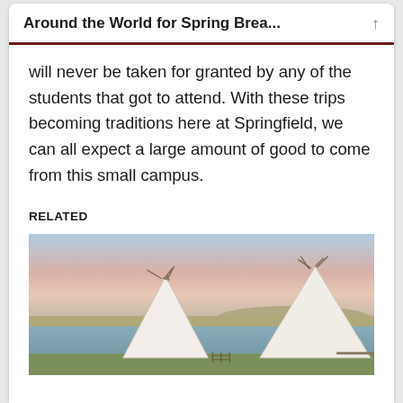Around the World for Spring Brea...
will never be taken for granted by any of the students that got to attend. With these trips becoming traditions here at Springfield, we can all expect a large amount of good to come from this small campus.
RELATED
[Figure (photo): Two white teepees near a body of water at dusk/sunset, with a pinkish sky and grassy shoreline in the background.]